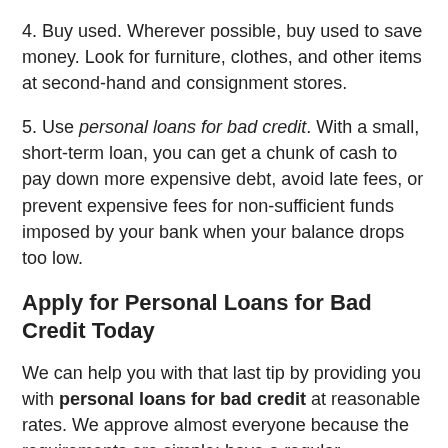4. Buy used. Wherever possible, buy used to save money. Look for furniture, clothes, and other items at second-hand and consignment stores.
5. Use personal loans for bad credit. With a small, short-term loan, you can get a chunk of cash to pay down more expensive debt, avoid late fees, or prevent expensive fees for non-sufficient funds imposed by your bank when your balance drops too low.
Apply for Personal Loans for Bad Credit Today
We can help you with that last tip by providing you with personal loans for bad credit at reasonable rates. We approve almost everyone because the requirements are simple: have a regular paycheck, be 18 years old, and be a U.S. citizen. If you meet all the requirements, we can approve you for this important loan in just under one day. Go online to apply, and a lender will contact you within minutes of submitting your completed application, no matter what time of day it is. You don't have to undergo a credit check or fax any documents. Just apply, and wait for the money to be